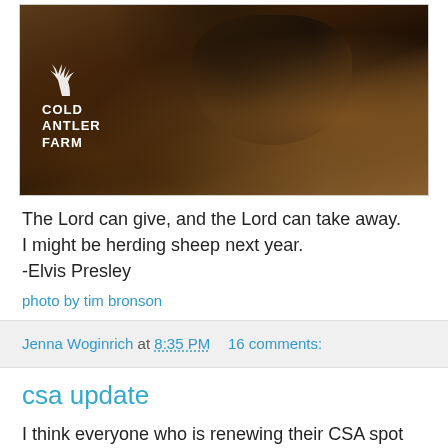[Figure (photo): Close-up photo of a woolly brown animal (sheep/lamb) face, with Cold Antler Farm logo overlaid in white at left]
The Lord can give, and the Lord can take away.
I might be herding sheep next year.
-Elvis Presley
photo by tim bronson
Jenna Woginrich at 8:35 PM   16 comments:
csa update
I think everyone who is renewing their CSA spot has contacted me, and all shares should be set for the next season. If you have yet to renew, please contact me at